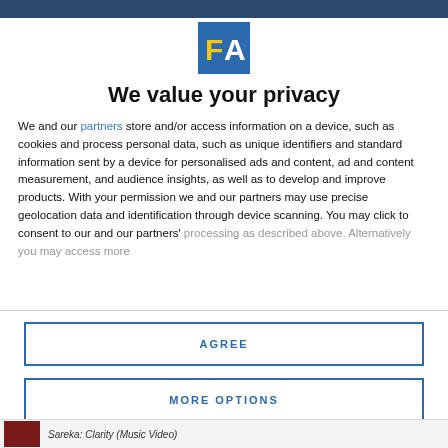[Figure (logo): FA logo — blue square background with yellow letter F and white letter A]
We value your privacy
We and our partners store and/or access information on a device, such as cookies and process personal data, such as unique identifiers and standard information sent by a device for personalised ads and content, ad and content measurement, and audience insights, as well as to develop and improve products. With your permission we and our partners may use precise geolocation data and identification through device scanning. You may click to consent to our and our partners' processing as described above. Alternatively you may access more
AGREE
MORE OPTIONS
Sareka: Clarity (Music Video)